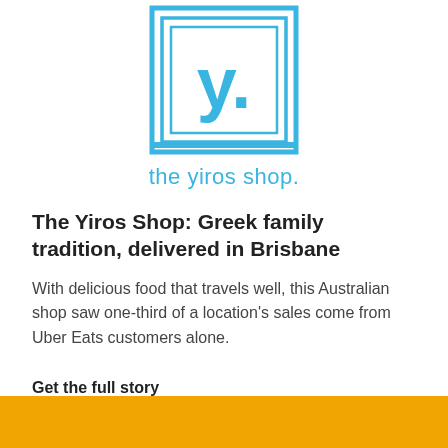[Figure (logo): The Yiros Shop logo: nested blue square frames with a stylized 'y.' letter in the center, and text below reading 'the yiros shop.']
The Yiros Shop: Greek family tradition, delivered in Brisbane
With delicious food that travels well, this Australian shop saw one-third of a location's sales come from Uber Eats customers alone.
Get the full story